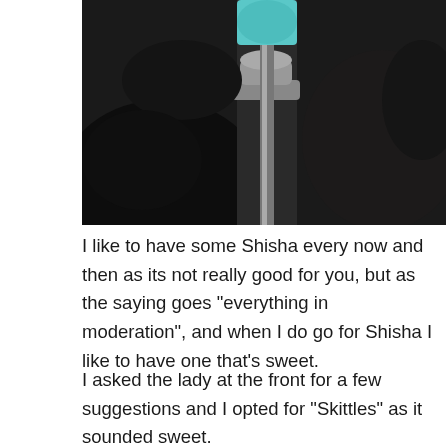[Figure (photo): Close-up photo of a shisha/hookah pipe, showing black coal and metallic bowl components with teal/turquoise colored element visible at top.]
I like to have some Shisha every now and then as its not really good for you, but as the saying goes "everything in moderation", and when I do go for Shisha I like to have one that's sweet.
I asked the lady at the front for a few suggestions and I opted for "Skittles" as it sounded sweet.
This cost about £20 which was a little costly, but how was it compared to a few other places I have been to in Glasgow.
For me this was an ok flavour, as it was very subtle